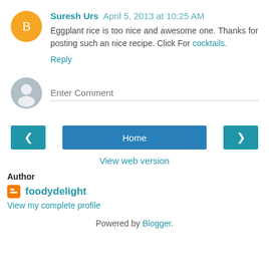Suresh Urs  April 5, 2013 at 10:25 AM
Eggplant rice is too nice and awesome one. Thanks for posting such an nice recipe. Click For cocktails.
Reply
Enter Comment
[Figure (infographic): Navigation buttons: left arrow, Home, right arrow]
View web version
Author
foodydelight
View my complete profile
Powered by Blogger.